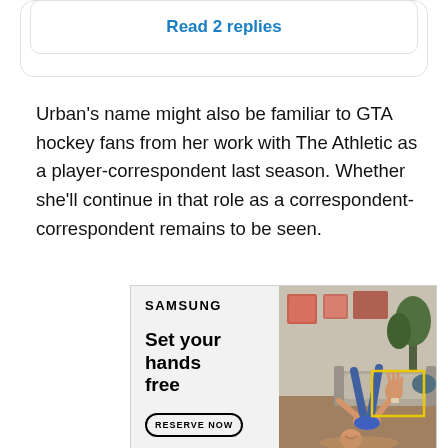Read 2 replies
Urban's name might also be familiar to GTA hockey fans from her work with The Athletic as a player-correspondent last season. Whether she'll continue in that role as a correspondent-correspondent remains to be seen.
[Figure (photo): Samsung advertisement showing a woman doing a yoga pose upside-down in a living room, with the text 'SAMSUNG', 'Set your hands free', and a 'RESERVE NOW' button on the left side.]